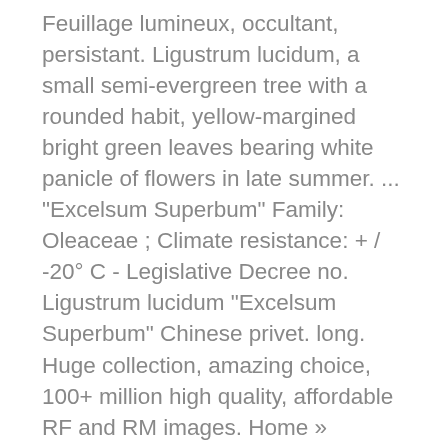Feuillage lumineux, occultant, persistant. Ligustrum lucidum, a small semi-evergreen tree with a rounded habit, yellow-margined bright green leaves bearing white panicle of flowers in late summer. ... "Excelsum Superbum" Family: Oleaceae ; Climate resistance: + / -20° C - Legislative Decree no. Ligustrum lucidum "Excelsum Superbum" Chinese privet. long. Huge collection, amazing choice, 100+ million high quality, affordable RF and RM images. Home » Catalog » Detail Ligustrum japonicun 'Excelsum Superbum' Help This page shows the product details: as well as a photo, the botanical information and a reference symbol. It is great for using as a screening tree, as it almost brings light into the garden rather than blocking it out. Ajouter au panier. We use cookies to offer you a better browsing experience, analyze site traffic, customize content and publish targeted advertisements. Ligustrum japonicum Coriaceum